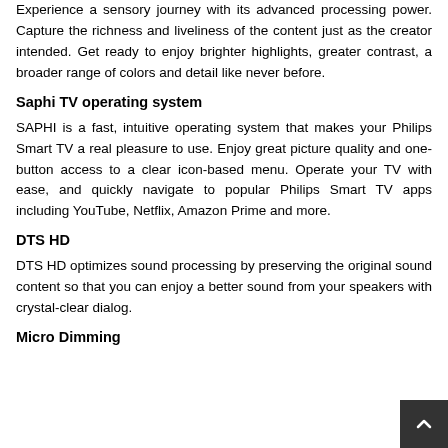Experience a sensory journey with its advanced processing power. Capture the richness and liveliness of the content just as the creator intended. Get ready to enjoy brighter highlights, greater contrast, a broader range of colors and detail like never before.
Saphi TV operating system
SAPHI is a fast, intuitive operating system that makes your Philips Smart TV a real pleasure to use. Enjoy great picture quality and one-button access to a clear icon-based menu. Operate your TV with ease, and quickly navigate to popular Philips Smart TV apps including YouTube, Netflix, Amazon Prime and more.
DTS HD
DTS HD optimizes sound processing by preserving the original sound content so that you can enjoy a better sound from your speakers with crystal-clear dialog.
Micro Dimming